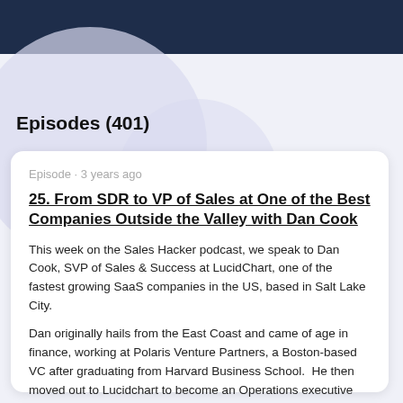Episodes (401)
Episode · 3 years ago
25. From SDR to VP of Sales at One of the Best Companies Outside the Valley with Dan Cook
This week on the Sales Hacker podcast, we speak to Dan Cook, SVP of Sales & Success at LucidChart, one of the fastest growing SaaS companies in the US, based in Salt Lake City.
Dan originally hails from the East Coast and came of age in finance, working at Polaris Venture Partners, a Boston-based VC after graduating from Harvard Business School.  He then moved out to Lucidchart to become an Operations executive before quickly transitioning to Sales.